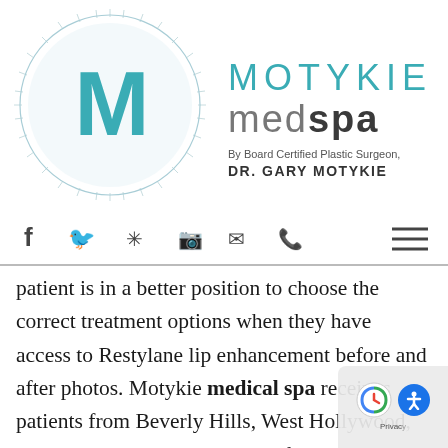[Figure (logo): Motykie MedSpa logo — circular radiant design with teal 'M' lettermark, text 'MOTYKIE medspa' and 'By Board Certified Plastic Surgeon, DR. GARY MOTYKIE']
[Figure (other): Navigation bar with social media icons (Facebook, Twitter, Yelp, Instagram, Email, Phone) and hamburger menu]
patient is in a better position to choose the correct treatment options when they have access to Restylane lip enhancement before and after photos. Motykie medical spa receives patients from Beverly Hills, West Hollywood, Los Angeles, and nearby areas for this procedure.